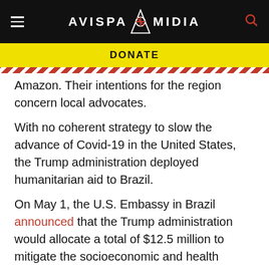AVISPA MIDIA
DONATE
Amazon. Their intentions for the region concern local advocates.
With no coherent strategy to slow the advance of Covid-19 in the United States, the Trump administration deployed humanitarian aid to Brazil.
On May 1, the U.S. Embassy in Brazil announced that the Trump administration would allocate a total of $12.5 million to mitigate the socioeconomic and health impacts of the pandemic, with special attention on the Amazon.
“Combating Covid-19 in Brazil is our top priority